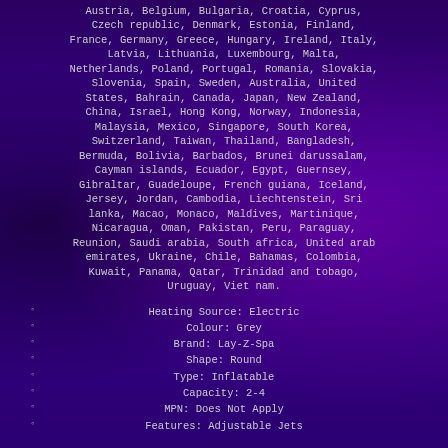Austria, Belgium, Bulgaria, Croatia, Cyprus, Czech republic, Denmark, Estonia, Finland, France, Germany, Greece, Hungary, Ireland, Italy, Latvia, Lithuania, Luxembourg, Malta, Netherlands, Poland, Portugal, Romania, Slovakia, Slovenia, Spain, Sweden, Australia, United States, Bahrain, Canada, Japan, New Zealand, China, Israel, Hong Kong, Norway, Indonesia, Malaysia, Mexico, Singapore, South Korea, Switzerland, Taiwan, Thailand, Bangladesh, Bermuda, Bolivia, Barbados, Brunei darussalam, Cayman islands, Ecuador, Egypt, Guernsey, Gibraltar, Guadeloupe, French guiana, Iceland, Jersey, Jordan, Cambodia, Liechtenstein, Sri lanka, Macao, Monaco, Maldives, Martinique, Nicaragua, Oman, Pakistan, Peru, Paraguay, Reunion, Saudi arabia, South africa, United arab emirates, Ukraine, Chile, Bahamas, Colombia, Kuwait, Panama, Qatar, Trinidad and tobago, Uruguay, Viet nam.
Heating Source: Electric
Colour: Grey
Brand: Lay-Z-Spa
Shape: Round
Type: Inflatable
Capacity: 2-4
MPN: Does Not Apply
Features: Adjustable Jets